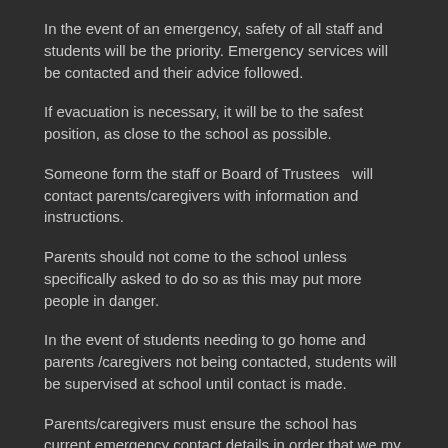In the event of an emergency, safety of all staff and students will be the priority. Emergency services will be contacted and their advice followed.
If evacuation is necessary, it will be to the safest position, as close to the school as possible.
Someone form the staff or Board of Trustees  will contact parents/caregivers with information and instructions.
Parents should not come to the school unless specifically asked to do so as this may put more people in danger.
In the event of students needing to go home and parents /caregivers not being contacted, students will be supervised at school until contact is made.
Parents/caregivers must ensure the school has current emergency contact details in order that we my contact you quickly in the